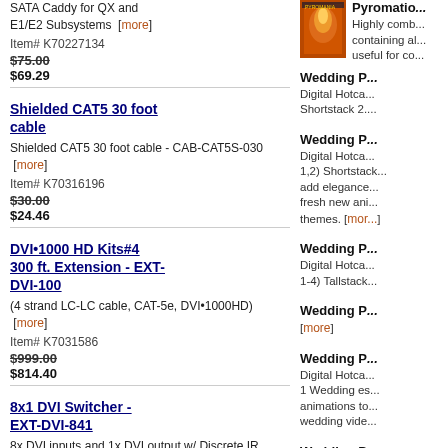SATA Caddy for QX and E1/E2 Subsystems [more]
Item# K70227134
$75.00 $69.29
Shielded CAT5 30 foot cable
Shielded CAT5 30 foot cable - CAB-CAT5S-030 [more]
Item# K70316196
$30.00 $24.46
DVI•1000 HD Kits#4 300 ft. Extension - EXT-DVI-100
(4 strand LC-LC cable, CAT-5e, DVI•1000HD) [more]
Item# K7031586
$999.00 $814.40
8x1 DVI Switcher - EXT-DVI-841
8x DVI inputs and 1x DVI output w/ Discrete IR Remote Control [more]
[Figure (photo): Product image - orange fire/explosion software box]
Pyromatio...
Highly comb... containing al... useful for co...
Wedding P...
Digital Hotca... Shortstack 2....
Wedding P...
Digital Hotca... 1,2) Shortstack... add elegance... fresh new ani... themes. [mor...]
Wedding P...
Digital Hotca... 1-4) Tallstack...
Wedding P... [more]
Wedding P...
Digital Hotca... 1 Wedding es... animations to... wedding vide...
Wedding P...
Add elegance... With seamles... backgrounds,...